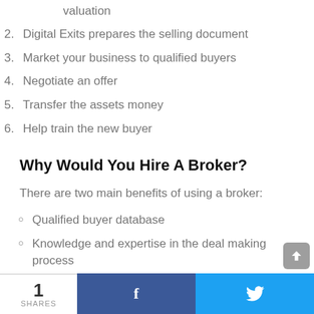valuation
2. Digital Exits prepares the selling document
3. Market your business to qualified buyers
4. Negotiate an offer
5. Transfer the assets money
6. Help train the new buyer
Why Would You Hire A Broker?
There are two main benefits of using a broker:
Qualified buyer database
Knowledge and expertise in the deal making process
1 SHARES  f  🐦